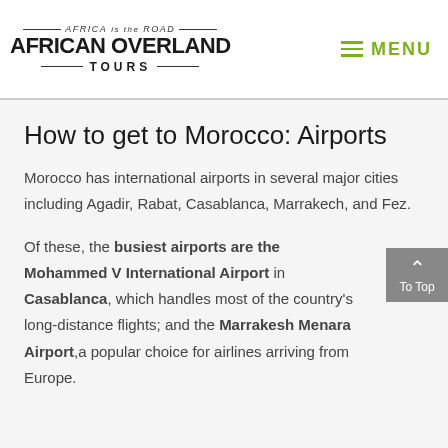AFRICA is the ROAD | AFRICAN OVERLAND TOURS | MENU
How to get to Morocco: Airports
Morocco has international airports in several major cities including Agadir, Rabat, Casablanca, Marrakech, and Fez.
Of these, the busiest airports are the Mohammed V International Airport in Casablanca, which handles most of the country's long-distance flights; and the Marrakesh Menara Airport,a popular choice for airlines arriving from Europe.
Ras al Mo...